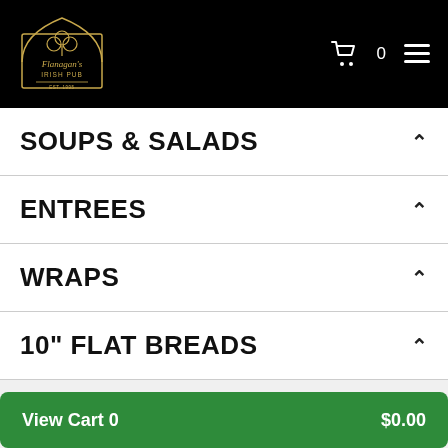[Figure (logo): Flanagan's Irish Pub logo with shamrock emblem in gold on black background]
SOUPS & SALADS
ENTREES
WRAPS
10" FLAT BREADS
PUB SANDWICHES
View Cart 0   $0.00